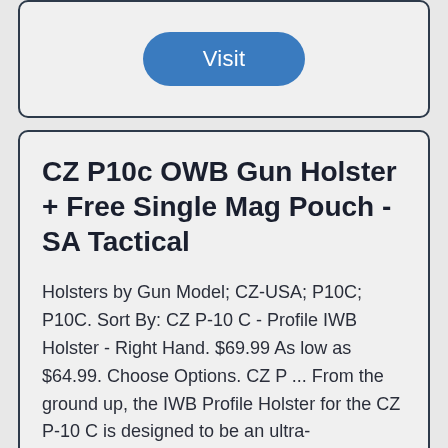[Figure (other): Blue rounded button labeled 'Visit']
CZ P10c OWB Gun Holster + Free Single Mag Pouch - SA Tactical
Holsters by Gun Model; CZ-USA; P10C; P10C. Sort By: CZ P-10 C - Profile IWB Holster - Right Hand. $69.99 As low as $64.99. Choose Options. CZ P ... From the ground up, the IWB Profile Holster for the CZ P-10 C is designed to be an ultra-concealable, minimalistic, ...